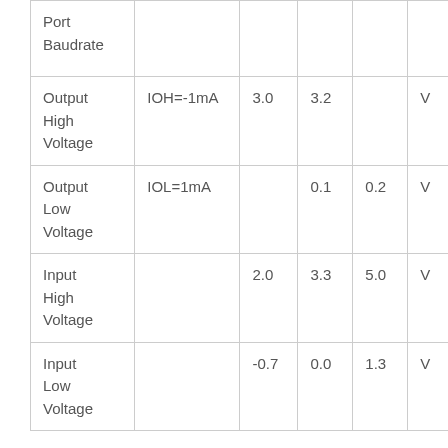| Parameter | Condition | Min | Typ | Max | Unit |
| --- | --- | --- | --- | --- | --- |
| Port Baudrate |  |  |  |  |  |
| Output High Voltage | IOH=-1mA | 3.0 | 3.2 |  | V |
| Output Low Voltage | IOL=1mA |  | 0.1 | 0.2 | V |
| Input High Voltage |  | 2.0 | 3.3 | 5.0 | V |
| Input Low Voltage |  | -0.7 | 0.0 | 1.3 | V |